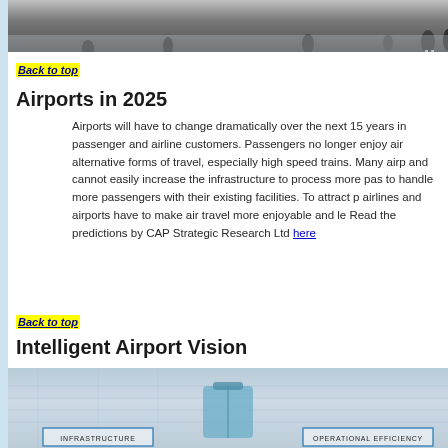[Figure (photo): Airport interior photo showing people walking, viewed from above/behind]
Back to top
Airports in 2025
Airports will have to change dramatically over the next 15 years in passenger and airline customers. Passengers no longer enjoy air alternative forms of travel, especially high speed trains. Many airp and cannot easily increase the infrastructure to process more pas to handle more passengers with their existing facilities. To attract p airlines and airports have to make air travel more enjoyable and le Read the predictions by CAP Strategic Research Ltd here
Back to top
Intelligent Airport Vision
[Figure (infographic): Intelligent Airport Vision diagram with boxes labeled INFRASTRUCTURE and OPERATIONAL EFFICIENCY on a stylized airport background with luggage]